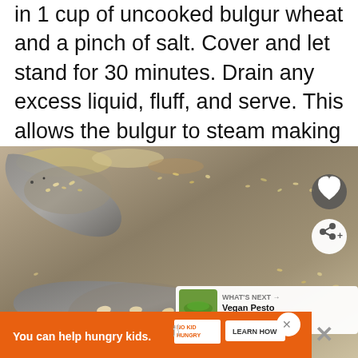in 1 cup of uncooked bulgur wheat and a pinch of salt. Cover and let stand for 30 minutes. Drain any excess liquid, fluff, and serve. This allows the bulgur to steam making it nice and fluffy.
[Figure (photo): Close-up photo of spoons with various grains and bulgur wheat scattered on a grey surface, with UI overlay buttons (heart, share) and a 'What's Next' panel showing Vegan Pesto Zoodles.]
WHAT'S NEXT → Vegan Pesto Zoodles wit...
You can help hungry kids. NO KID HUNGRY LEARN HOW